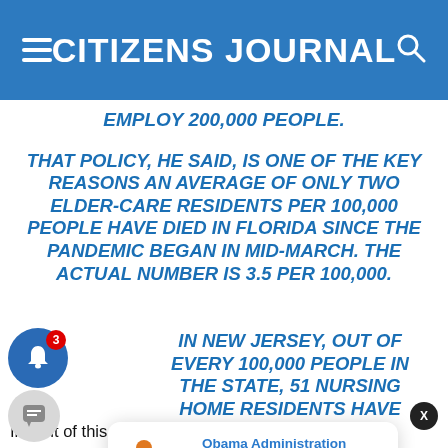CITIZENS JOURNAL
EMPLOY 200,000 PEOPLE.
THAT POLICY, HE SAID, IS ONE OF THE KEY REASONS AN AVERAGE OF ONLY TWO ELDER-CARE RESIDENTS PER 100,000 PEOPLE HAVE DIED IN FLORIDA SINCE THE PANDEMIC BEGAN IN MID-MARCH. THE ACTUAL NUMBER IS 3.5 PER 100,000.
IN NEW JERSEY, OUT OF EVERY 100,000 PEOPLE IN THE STATE, 51 NURSING HOME RESIDENTS HAVE DIED. IN NEW YORK, NEARLY 27 HAVE DIED. EVEN COLORADO, WHICH HAS HAD A COMPARATIVELY LOW 1,067 DEATHS, MORE THAN 10 NU...
[Figure (illustration): Promotional card: person dragging a loan ball, with text 'Obama Administration Economist Warns About' and '12 hours ago']
In light of this information, it seems that much of the